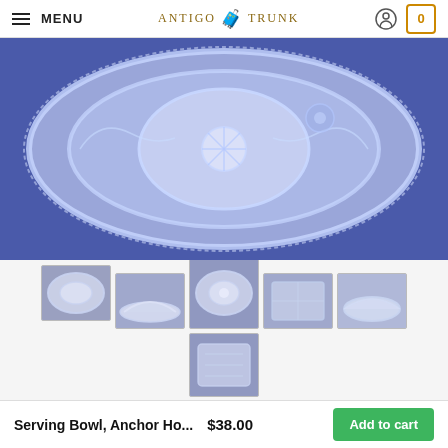MENU | ANTIGO TRUNK | user icon | cart: 0
[Figure (photo): Large main product photo of a clear pressed glass serving bowl/plate with floral and scroll patterns, photographed on a blue velvet background.]
[Figure (photo): Thumbnail 1: top-down view of the glass plate showing oval shape.]
[Figure (photo): Thumbnail 2: side profile view of the glass bowl.]
[Figure (photo): Thumbnail 3: close-up top view of the glass bowl center pattern.]
[Figure (photo): Thumbnail 4: close-up of the glass pattern/marking.]
[Figure (photo): Thumbnail 5: side/rim view of the glass bowl.]
[Figure (photo): Thumbnail 6: close-up of etched floral pattern on the glass.]
Serving Bowl, Anchor Ho...
$38.00
Add to cart